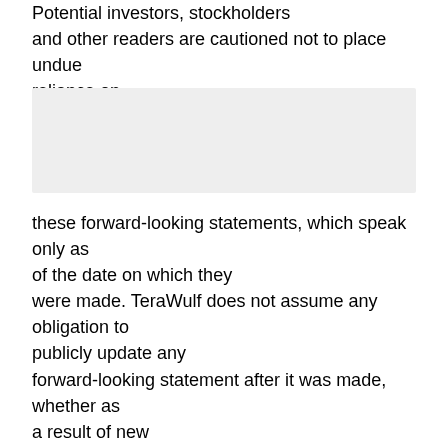Potential investors, stockholders and other readers are cautioned not to place undue reliance on
[Figure (other): Gray rectangular box (image placeholder or redacted content)]
these forward-looking statements, which speak only as of the date on which they were made. TeraWulf does not assume any obligation to publicly update any forward-looking statement after it was made, whether as a result of new information, future events or otherwise, except as required by law or